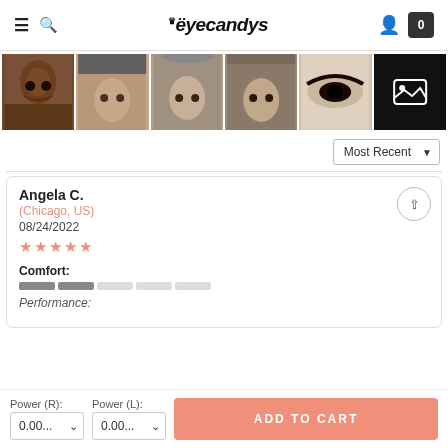eyecandys — navigation header with hamburger, search, logo, user, cart (0)
[Figure (photo): Strip of 6 user-submitted review photos showing people wearing contact lenses. The last thumbnail shows a gallery icon overlay on a dark background.]
Most Recent ▼
Angela C.
(Chicago, US)
08/24/2022
★★★★★
Comfort:
Performance: (partially visible)
Power (R): 0.00…
Power (L): 0.00…
ADD TO CART